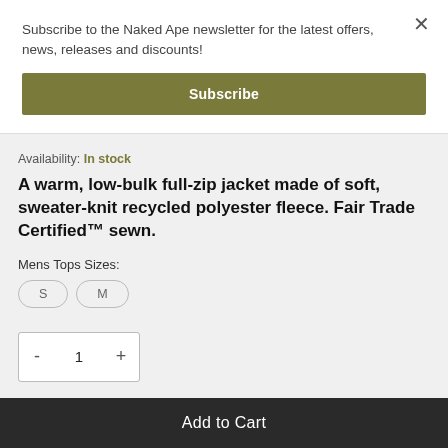Subscribe to the Naked Ape newsletter for the latest offers, news, releases and discounts!
Subscribe
Availability: In stock
A warm, low-bulk full-zip jacket made of soft, sweater-knit recycled polyester fleece. Fair Trade Certified™ sewn.
Mens Tops Sizes:
S
M
1
Add to Cart